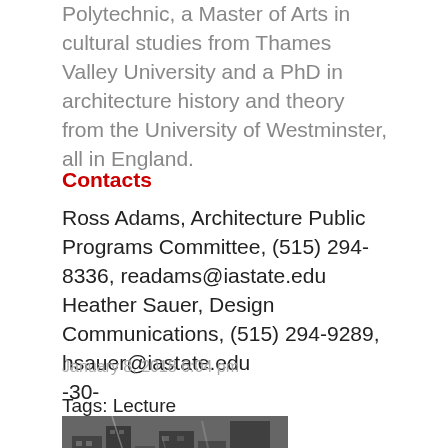Polytechnic, a Master of Arts in cultural studies from Thames Valley University and a PhD in architecture history and theory from the University of Westminster, all in England.
Contacts
Ross Adams, Architecture Public Programs Committee, (515) 294-8336, readams@iastate.edu Heather Sauer, Design Communications, (515) 294-9289, hsauer@iastate.edu -30-
January 8, 2018 6:04 pm
Tags: Lecture
[Figure (photo): Black and white photograph of a city street scene with buildings and people]